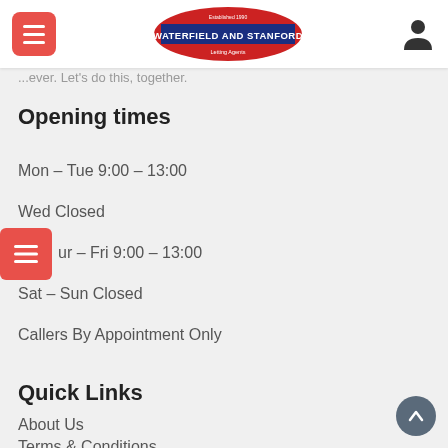Waterfield and Stanford - Letting Agents
...ever. Let's do this, together.
Opening times
Mon – Tue 9:00 – 13:00
Wed Closed
Thur – Fri 9:00 – 13:00
Sat – Sun Closed
Callers By Appointment Only
Quick Links
About Us
Terms & Conditions